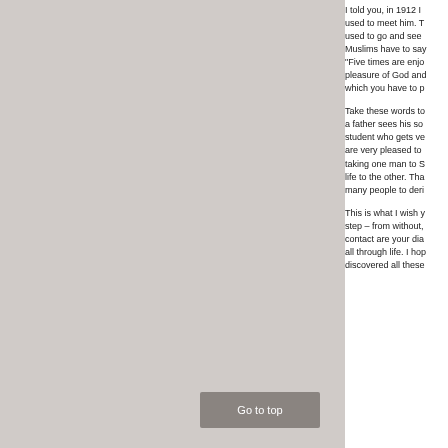[Figure (other): Large grey rectangular panel occupying the left portion of the page]
I told you, in 1912 I used to meet him. T used to go and see Muslims have to say "Five times are enjo pleasure of God and which you have to p

Take these words to a father sees his so student who gets ve are very pleased to taking one man to S life to the other. Tha many people to deri

This is what I wish y step – from without, contact are your dia all through life. I hop discovered all these